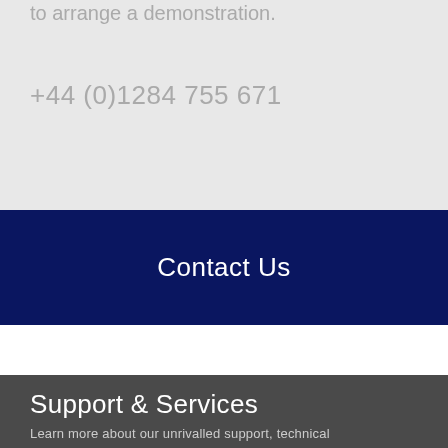to arrange a demonstration.
+44 (0)1284 755 671
Contact Us
Support & Services
Learn more about our unrivalled support, technical